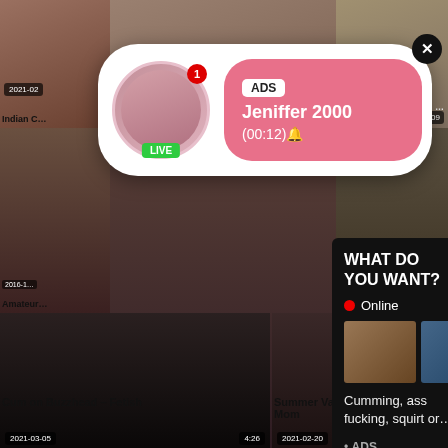[Figure (screenshot): Adult video website screenshot showing a grid of video thumbnails with advertising popups overlaid. Top notification popup shows 'ADS Jeniffer 2000 (00:12)' with LIVE badge. Second popup shows 'WHAT DO YOU WANT? WATCH Online' with thumbnail images and text 'Cumming, ass fucking, squirt or... • ADS'. Bottom videos labeled '2021-03-05 4:26 Cum on Buzzhead - Fetish' and '2021-02-20 21:33 Summer Vacation With Step Mom'. Other timestamps visible: 24:09, 4:42, 2016-1x, 2021-02.]